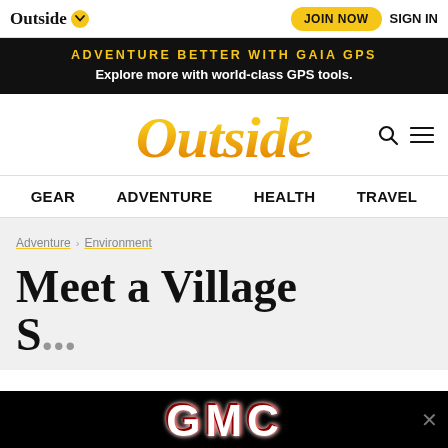Outside [chevron] | JOIN NOW  SIGN IN
[Figure (screenshot): Black banner ad: ADVENTURE BETTER WITH GAIA GPS — Explore more with world-class GPS tools.]
[Figure (logo): Outside magazine logo in large gold italic serif font with search and hamburger menu icons]
GEAR   ADVENTURE   HEALTH   TRAVEL
Adventure > Environment
Meet a Village S...
[Figure (screenshot): GMC advertisement banner in black with red metallic GMC logo and close button]